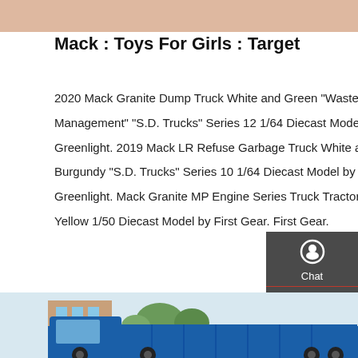[Figure (photo): Top portion of a webpage showing a light pink/peach colored background image strip at the top]
Mack : Toys For Girls : Target
2020 Mack Granite Dump Truck White and Green "Waste Management" "S.D. Trucks" Series 12 1/64 Diecast Model by Greenlight. 2019 Mack LR Refuse Garbage Truck White and Burgundy "S.D. Trucks" Series 10 1/64 Diecast Model by Greenlight. Mack Granite MP Engine Series Truck Tractor Yellow 1/50 Diecast Model by First Gear. First Gear.
[Figure (screenshot): Orange/yellow 'Get a Quote' button]
[Figure (photo): Bottom portion showing a blue dump truck parked in front of a building with trees in the background]